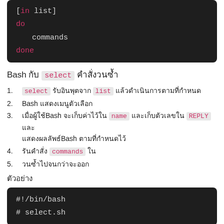[Figure (screenshot): Dark-themed code block showing: [in list], do, commands, done with keywords in pink/red]
Bash กับ select คำสั่งวนซ้ำ
1. select รับอินพุตจาก list แล้วดำเนินการตามที่กำหนด
2. Bash แสดงเมนูตัวเลือก
3. เมื่อผู้ใช้Bash จะเก็บค่าไว้ใน name และเก็บตัวเลขใน REPLY และแสดงผลลัพธ์Bash ตามที่กำหนดไว้
4. รันคำสั่ง commands ใน
5. วนซ้ำไปจนกว่าจะออก
ตัวอย่าง
[Figure (screenshot): Dark-themed code block showing: #!/bin/bash and # select.sh]